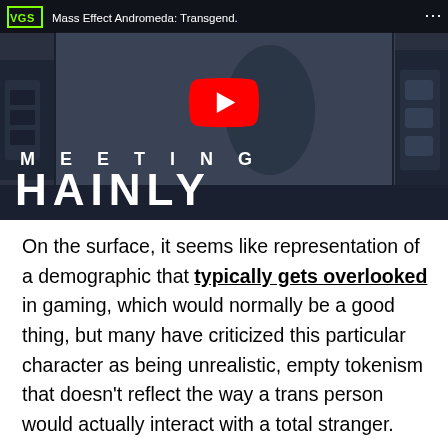[Figure (screenshot): YouTube video thumbnail for 'Mass Effect Andromeda: Transgend.' showing a game scene with a character, YouTube play button overlay, and text 'MEETING HAINLY' in large white letters. VGS logo in top left corner.]
On the surface, it seems like representation of a demographic that typically gets overlooked in gaming, which would normally be a good thing, but many have criticized this particular character as being unrealistic, empty tokenism that doesn't reflect the way a trans person would actually interact with a total stranger.